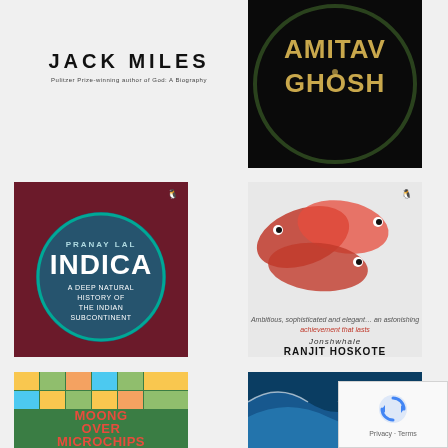[Figure (illustration): Book author name: JACK MILES with subtitle 'Pulitzer Prize-winning author of God: A Biography']
[Figure (photo): Book cover for Amitav Ghosh - dark background with decorative snake/vine typography]
[Figure (photo): Book cover: INDICA - A Deep Natural History of the Indian Subcontinent by Pranay Lal, featuring insects and natural imagery]
[Figure (photo): Book cover: Jonshwhale by Ranjit Hoskote, featuring colorful fish on grey/white background]
[Figure (photo): Book cover: Moong Over Microchips, featuring colorful mosaic/tile imagery]
[Figure (photo): Book cover featuring ocean waves/sea imagery]
[Figure (screenshot): reCAPTCHA Privacy - Terms overlay in bottom right corner]